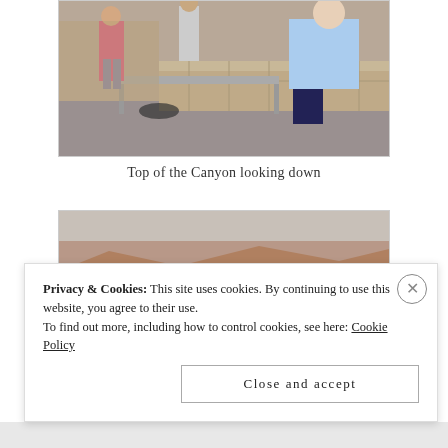[Figure (photo): Outdoor photo showing people near a metal bench/railing at the top of a canyon, with stone walls visible in background]
Top of the Canyon looking down
[Figure (photo): Aerial/overlook photo of a red rock canyon landscape with layered canyon walls visible from above]
Privacy & Cookies: This site uses cookies. By continuing to use this website, you agree to their use.
To find out more, including how to control cookies, see here: Cookie Policy
Close and accept